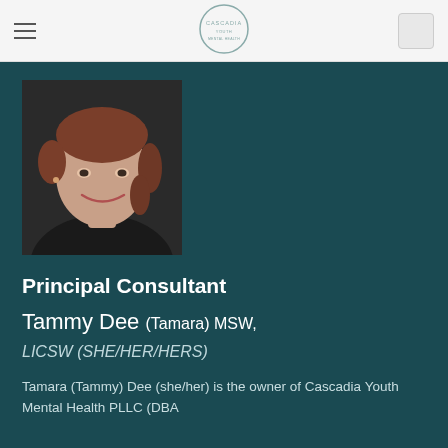Cascadia (logo) navigation header
[Figure (photo): Headshot photo of a woman with reddish-brown hair, smiling, wearing dark clothing against a dark background]
Principal Consultant
Tammy Dee (Tamara) MSW, LICSW (SHE/HER/HERS)
Tamara (Tammy) Dee (she/her) is the owner of Cascadia Youth Mental Health PLLC (DBA